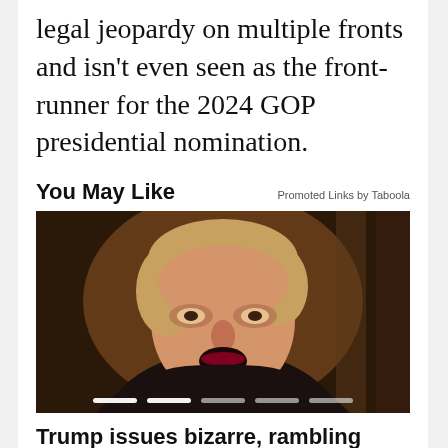legal jeopardy on multiple fronts and isn't even seen as the front-runner for the 2024 GOP presidential nomination.
You May Like
Promoted Links by Taboola
[Figure (photo): Close-up photo of a man speaking, with warm dark background]
Trump issues bizarre, rambling statement claiming 'people won't stand' for him being investigated